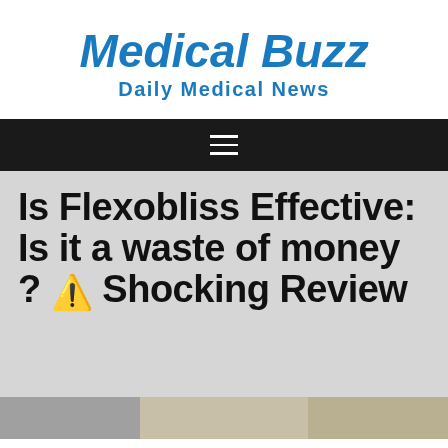Medical Buzz
Daily Medical News
≡
Is Flexobliss Effective: Is it a waste of money ? ⚠ Shocking Review
[Figure (photo): Bottom image strip showing partial thumbnail images]